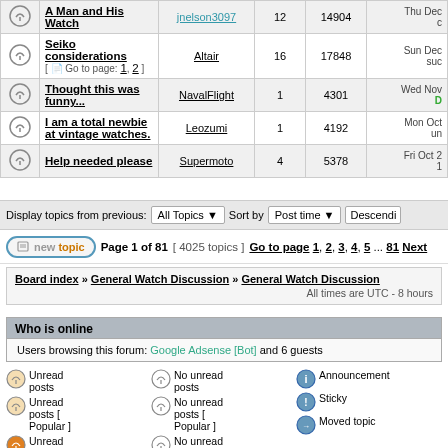|  | Topic | Author | Replies | Views | Last post |
| --- | --- | --- | --- | --- | --- |
| [icon] | A Man and His Watch | jnelson3097 | 12 | 14904 | Thu Dec ... |
| [icon] | Seiko considerations [Go to page: 1, 2] | Altair | 16 | 17848 | Sun Dec ... suc... |
| [icon] | Thought this was funny... | NavalFlight | 1 | 4301 | Wed Nov ... D... |
| [icon] | I am a total newbie at vintage watches. | Leozumi | 1 | 4192 | Mon Oct ... un... |
| [icon] | Help needed please | Supermoto | 4 | 5378 | Fri Oct 2 ... 1 |
Display topics from previous: All Topics  Sort by Post time  Descending
Page 1 of 81  [ 4025 topics ]  Go to page 1, 2, 3, 4, 5 ... 81  Next
Board index » General Watch Discussion » General Watch Discussion
All times are UTC - 8 hours
Who is online
Users browsing this forum: Google Adsense [Bot] and 6 guests
Unread posts | No unread posts | Announcement | You cannot post new topics in this forum
Unread posts [Popular] | No unread posts [Popular] | Sticky | You cannot reply to topics in this forum
Unread posts [ | No unread posts [ | Moved topic | You cannot edit your posts in this forum